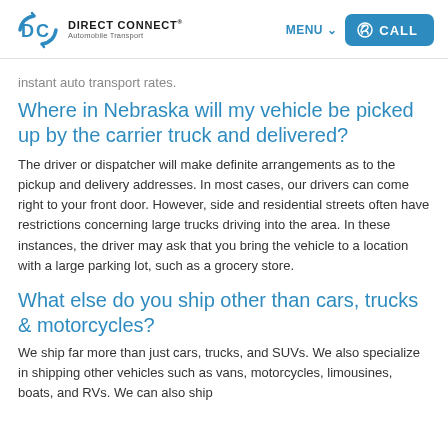Direct Connect Automobile Transport — MENU | CALL
instant auto transport rates.
Where in Nebraska will my vehicle be picked up by the carrier truck and delivered?
The driver or dispatcher will make definite arrangements as to the pickup and delivery addresses. In most cases, our drivers can come right to your front door. However, side and residential streets often have restrictions concerning large trucks driving into the area. In these instances, the driver may ask that you bring the vehicle to a location with a large parking lot, such as a grocery store.
What else do you ship other than cars, trucks & motorcycles?
We ship far more than just cars, trucks, and SUVs. We also specialize in shipping other vehicles such as vans, motorcycles, limousines, boats, and RVs. We can also ship